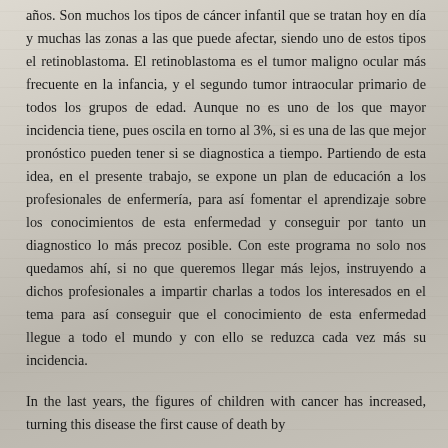años. Son muchos los tipos de cáncer infantil que se tratan hoy en día y muchas las zonas a las que puede afectar, siendo uno de estos tipos el retinoblastoma. El retinoblastoma es el tumor maligno ocular más frecuente en la infancia, y el segundo tumor intraocular primario de todos los grupos de edad. Aunque no es uno de los que mayor incidencia tiene, pues oscila en torno al 3%, si es una de las que mejor pronóstico pueden tener si se diagnostica a tiempo. Partiendo de esta idea, en el presente trabajo, se expone un plan de educación a los profesionales de enfermería, para así fomentar el aprendizaje sobre los conocimientos de esta enfermedad y conseguir por tanto un diagnostico lo más precoz posible. Con este programa no solo nos quedamos ahí, si no que queremos llegar más lejos, instruyendo a dichos profesionales a impartir charlas a todos los interesados en el tema para así conseguir que el conocimiento de esta enfermedad llegue a todo el mundo y con ello se reduzca cada vez más su incidencia.
In the last years, the figures of children with cancer has increased, turning this disease the first cause of death by disease among children after infancy.